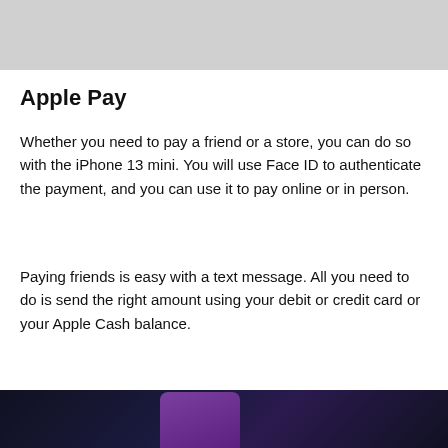[Figure (photo): Top portion of a photo, light gray background visible at top of page]
Apple Pay
Whether you need to pay a friend or a store, you can do so with the iPhone 13 mini. You will use Face ID to authenticate the payment, and you can use it to pay online or in person.
Paying friends is easy with a text message. All you need to do is send the right amount using your debit or credit card or your Apple Cash balance.
[Figure (photo): Bottom photo showing a purple iPhone against a dark circuit board background]